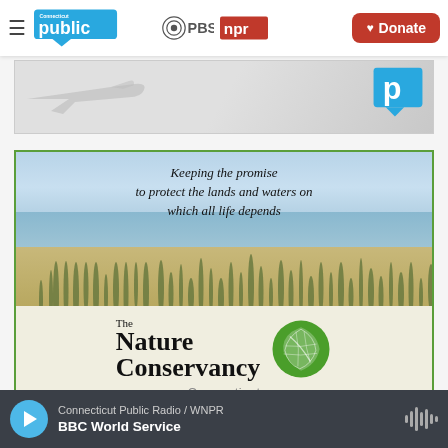Connecticut Public | PBS | NPR — Donate
[Figure (other): Advertisement banner with airplane silhouette and stylized P logo]
[Figure (other): The Nature Conservancy Connecticut advertisement showing beach landscape with text: Keeping the promise to protect the lands and waters on which all life depends]
Connecticut Public Radio / WNPR — BBC World Service